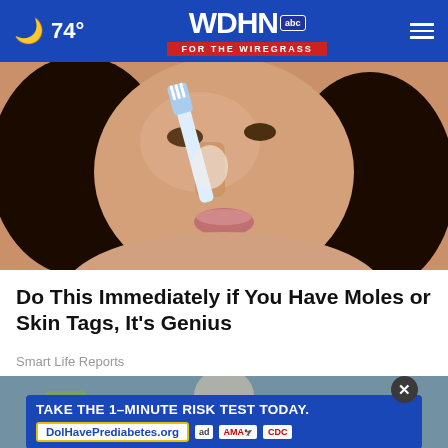🌙 74° | WDHN abc FOR THE WIREGRASS
[Figure (photo): Close-up photo of a young woman with dark hair using a toothbrush on her nose/skin]
Do This Immediately if You Have Moles or Skin Tags, It's Genius
Smart Life Reports
[Figure (photo): Person in teal/green clothing with stacks of money in background]
[Figure (infographic): Advertisement banner: TAKE THE 1-MINUTE RISK TEST TODAY. DolHavePrediabetes.org — with ad council, AMA, and CDC logos]